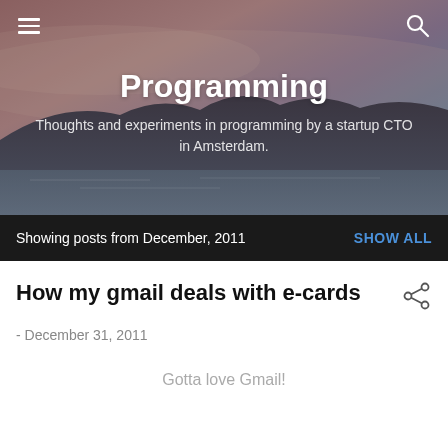[Figure (photo): Hero banner with a scenic landscape photo (mountains/water at dusk with purple-brown tones) as background. Contains hamburger menu icon on top-left, search icon on top-right, blog title 'Programming' and subtitle text centered.]
Programming
Thoughts and experiments in programming by a startup CTO in Amsterdam.
Showing posts from December, 2011
How my gmail deals with e-cards
- December 31, 2011
Gotta love Gmail!